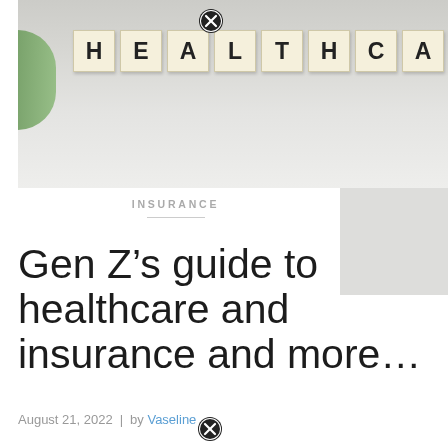[Figure (photo): Photo of Scrabble tiles spelling out HEALTHCARE on a light gray surface, with a green plant visible at the left edge. A close button (X icon) appears at the top center.]
INSURANCE
Gen Z’s guide to healthcare and insurance and more…
August 21, 2022  |  by Vaseline